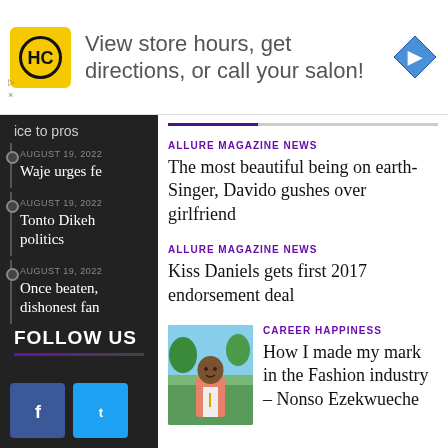[Figure (infographic): Advertisement banner: HC logo (yellow background, black HC text), text 'View store hours, get directions, or call your salon!', blue diamond navigation icon]
▷
×
ice to pros
AUGUST 19, 2022
Waje urges fe
AUGUST 19, 2022
Tonto Dikeh
politics
AUGUST 19, 2022
Once beaten,
dishonest fan
FOLLOW US
ALLURE MAGAZINE NEWS
The most beautiful being on earth- Singer, Davido gushes over girlfriend
ALLURE MAGAZINE NEWS
Kiss Daniels gets first 2017 endorsement deal
CAREER HAPPINESS
How I made my mark in the Fashion industry – Nonso Ezekwueche
[Figure (photo): Photo of a man in a pink/coral blazer, smiling, outdoors with trees in background]